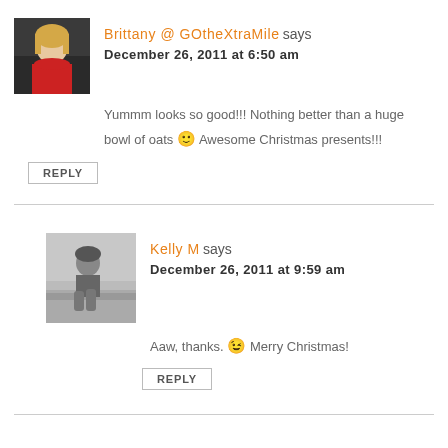[Figure (photo): Avatar photo of Brittany, a blonde woman in a red top]
Brittany @ GOtheXtraMile says
December 26, 2011 at 6:50 am
Yummm looks so good!!! Nothing better than a huge bowl of oats 🙂 Awesome Christmas presents!!!
REPLY
[Figure (photo): Avatar photo of Kelly M, black and white photo of a person sitting on steps]
Kelly M says
December 26, 2011 at 9:59 am
Aaw, thanks. 😉 Merry Christmas!
REPLY